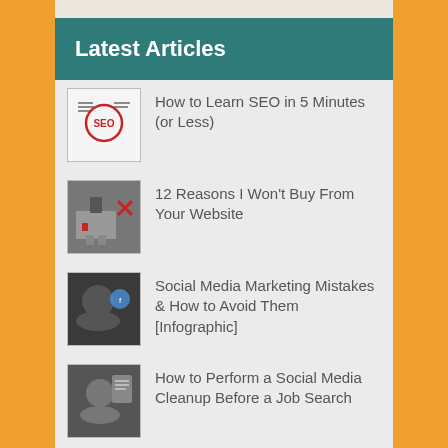Latest Articles
How to Learn SEO in 5 Minutes (or Less)
12 Reasons I Won't Buy From Your Website
Social Media Marketing Mistakes & How to Avoid Them [Infographic]
How to Perform a Social Media Cleanup Before a Job Search
Free SEO Tools You Can Use To Optimize Your Website
SEO: 10 things every business leader should know
Best SEO tool for smart website